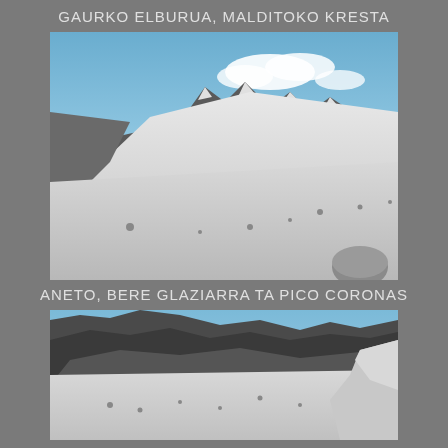GAURKO ELBURUA, MALDITOKO KRESTA
[Figure (photo): Mountain glacier landscape with snow-covered slopes, rocky peaks in background, blue sky with white clouds. Aneto glacier area with Pico Coronas visible.]
ANETO, BERE GLAZIARRA TA PICO CORONAS
[Figure (photo): Mountain glacier with large rocky ridge/cliff face in background, snow-covered glacier foreground, blue sky. Large white rock in lower right corner.]